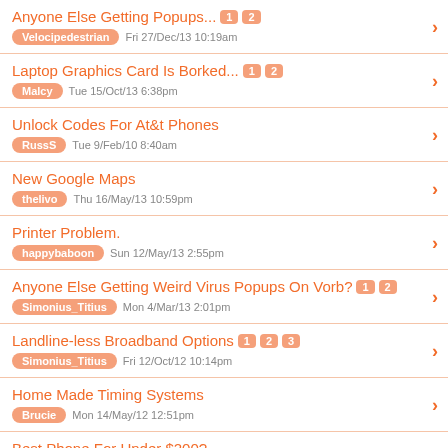Anyone Else Getting Popups... [1][2] Velocipedestrian Fri 27/Dec/13 10:19am
Laptop Graphics Card Is Borked... [1][2] Malcy Tue 15/Oct/13 6:38pm
Unlock Codes For At&t Phones RussS Tue 9/Feb/10 8:40am
New Google Maps thelivo Thu 16/May/13 10:59pm
Printer Problem. happybaboon Sun 12/May/13 2:55pm
Anyone Else Getting Weird Virus Popups On Vorb? [1][2] Simonius_Titius Mon 4/Mar/13 2:01pm
Landline-less Broadband Options [1][2][3] Simonius_Titius Fri 12/Oct/12 10:14pm
Home Made Timing Systems Brucie Mon 14/May/12 12:51pm
Best Phone For Under $200? nzmatto Sun 18/Dec/11 6:14pm